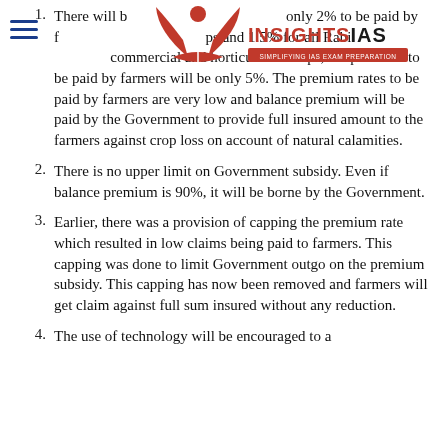[Figure (logo): InsightsIAS logo with red book/wings icon and text INSIGHTSIAS SIMPLIFYING IAS EXAM PREPARATION]
There will b[e a premium of] only 2% to be paid by f[armers for all Kharif cro]ps and 1.5% for all Rabi [crops. For] commercial and horticultural crops, the premium to be paid by farmers will be only 5%. The premium rates to be paid by farmers are very low and balance premium will be paid by the Government to provide full insured amount to the farmers against crop loss on account of natural calamities.
There is no upper limit on Government subsidy. Even if balance premium is 90%, it will be borne by the Government.
Earlier, there was a provision of capping the premium rate which resulted in low claims being paid to farmers. This capping was done to limit Government outgo on the premium subsidy. This capping has now been removed and farmers will get claim against full sum insured without any reduction.
The use of technology will be encouraged to a...